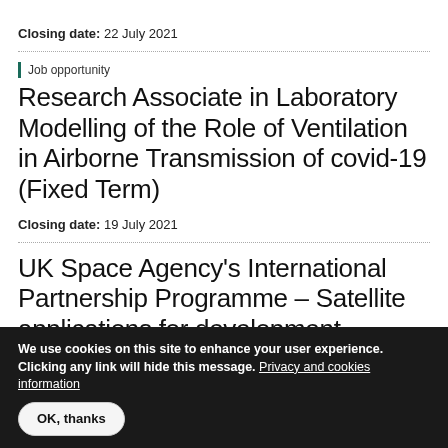Closing date: 22 July 2021
Job opportunity
Research Associate in Laboratory Modelling of the Role of Ventilation in Airborne Transmission of covid-19 (Fixed Term)
Closing date: 19 July 2021
UK Space Agency's International Partnership Programme – Satellite applications for development challenges
We use cookies on this site to enhance your user experience. Clicking any link will hide this message. Privacy and cookies information
OK, thanks